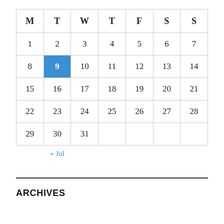| M | T | W | T | F | S | S |
| --- | --- | --- | --- | --- | --- | --- |
| 1 | 2 | 3 | 4 | 5 | 6 | 7 |
| 8 | 9* | 10 | 11 | 12 | 13 | 14 |
| 15 | 16 | 17 | 18 | 19 | 20 | 21 |
| 22 | 23 | 24 | 25 | 26 | 27 | 28 |
| 29 | 30 | 31 |  |  |  |  |
« Jul
ARCHIVES